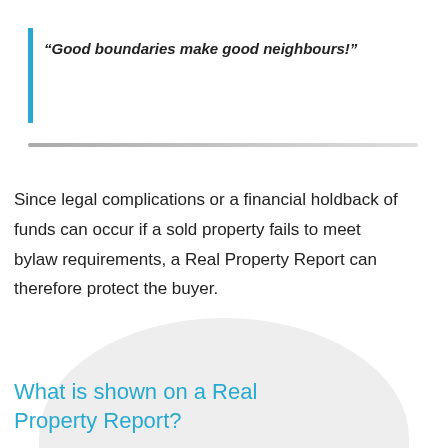“Good boundaries make good neighbours!”
Since legal complications or a financial holdback of funds can occur if a sold property fails to meet bylaw requirements, a Real Property Report can therefore protect the buyer.
What is shown on a Real Property Report?